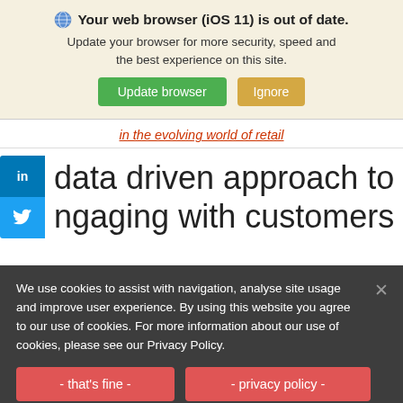Your web browser (iOS 11) is out of date. Update your browser for more security, speed and the best experience on this site.
Update browser | Ignore
in the evolving world of retail
data driven approach to engaging with customers
We use cookies to assist with navigation, analyse site usage and improve user experience. By using this website you agree to our use of cookies. For more information about our use of cookies, please see our Privacy Policy.
- that's fine - | - privacy policy -